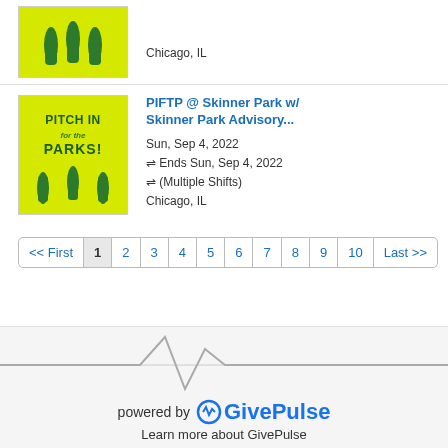[Figure (logo): Pitch In for the Parks logo - yellow-green background with green hand silhouettes]
Chicago, IL
[Figure (logo): Pitch In for the Parks logo - yellow-green background with PITCH IN FOR PARKS text and green hand silhouettes]
PIFTP @ Skinner Park w/ Skinner Park Advisory...
Sun, Sep 4, 2022
⇌ Ends Sun, Sep 4, 2022
⇌ (Multiple Shifts)
Chicago, IL
<< First 1 2 3 4 5 6 7 8 9 10 Last >>
[Figure (illustration): Heartbeat / pulse line graphic in gray]
powered by GivePulse
Learn more about GivePulse